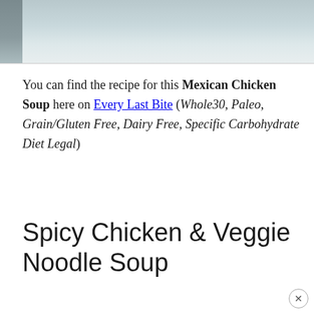[Figure (photo): Top portion of a food photo, light blue-gray background, partial view of a soup dish]
You can find the recipe for this Mexican Chicken Soup here on Every Last Bite (Whole30, Paleo, Grain/Gluten Free, Dairy Free, Specific Carbohydrate Diet Legal)
Spicy Chicken & Veggie Noodle Soup
[Figure (photo): Bottom portion showing a food photo with green garnish and a lime slice, light background, with a close/X button overlay in the bottom right]